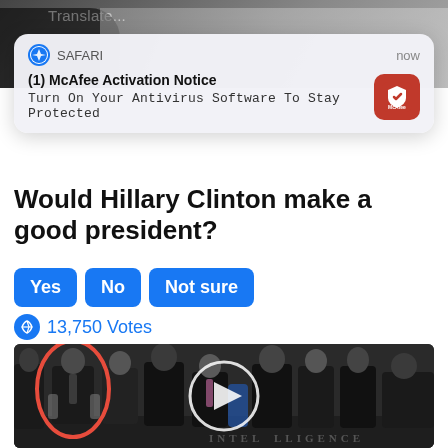[Figure (screenshot): Top photo strip showing partial image of people, with 'Translate...' label visible]
[Figure (screenshot): Safari push notification banner: '(1) McAfee Activation Notice - Turn On Your Antivirus Software To Stay Protected' with McAfee red icon, timestamped 'now']
Would Hillary Clinton make a good president?
Yes
No
Not sure
13,750 Votes
[Figure (photo): Group of men in suits standing indoors, one circled in red on the left side, with a CIA floor seal visible at bottom and a video play button overlay in center]